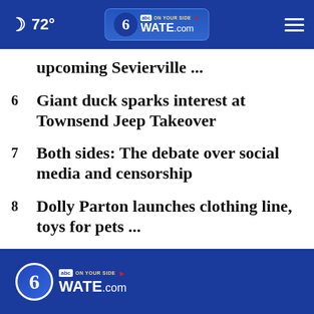72° WATE.com
upcoming Sevierville ...
6  Giant duck sparks interest at Townsend Jeep Takeover
7  Both sides: The debate over social media and censorship
8  Dolly Parton launches clothing line, toys for pets ...
WATE.com